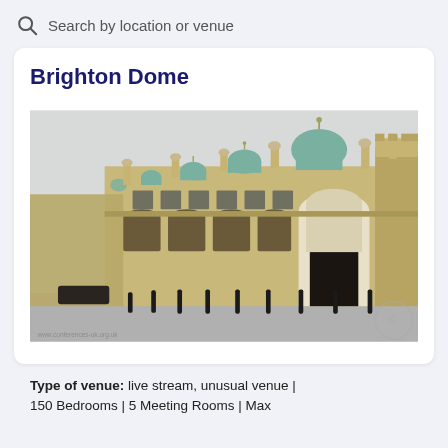Search by location or venue
Brighton Dome
[Figure (photo): Exterior photograph of Brighton Dome, showing its ornate Mughal-inspired architecture with domed turrets and arched entrance. The building is built from light-coloured stone with teal copper domes. A street runs in front with bollards. Watermark: www.conferences-uk.org.uk]
Type of venue: live stream, unusual venue | 150 Bedrooms | 5 Meeting Rooms | Max...